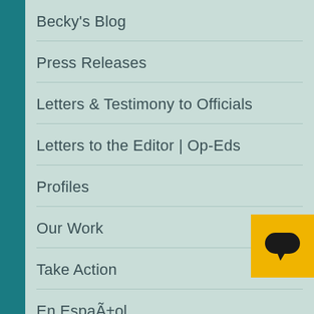Becky's Blog
Press Releases
Letters & Testimony to Officials
Letters to the Editor | Op-Eds
Profiles
Our Work
Take Action
En Español
Plan to Soon